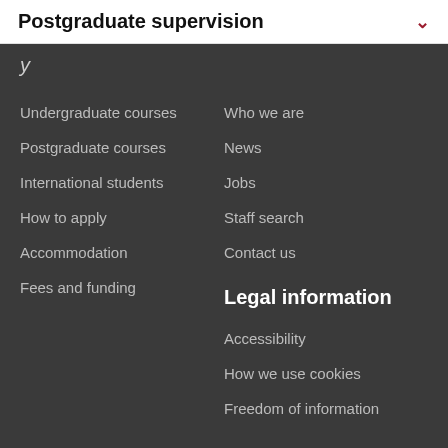Postgraduate supervision
Undergraduate courses
Postgraduate courses
International students
How to apply
Accommodation
Fees and funding
Who we are
News
Jobs
Staff search
Contact us
Legal information
Accessibility
How we use cookies
Freedom of information